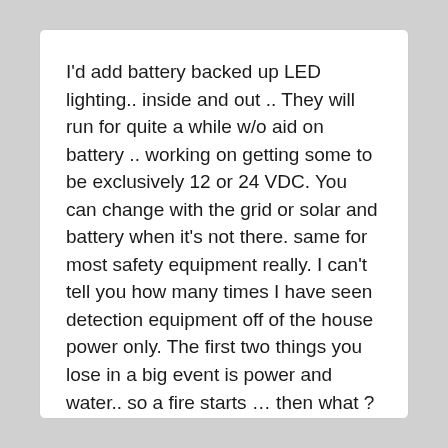I'd add battery backed up LED lighting.. inside and out .. They will run for quite a while w/o aid on battery .. working on getting some to be exclusively 12 or 24 VDC. You can change with the grid or solar and battery when it's not there. same for most safety equipment really. I can't tell you how many times I have seen detection equipment off of the house power only. The first two things you lose in a big event is power and water.. so a fire starts ... then what ?
bet yo can say is you'll be warm for a few minutes.